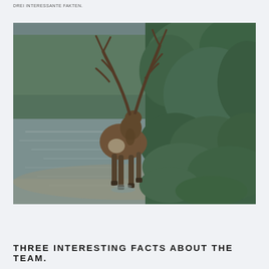DREI INTERESSANTE FAKTEN.
[Figure (photo): A bull elk with large antlers standing in shallow water near the shoreline, viewed from behind, with dense green conifer forest on the right side of the image.]
THREE INTERESTING FACTS ABOUT THE TEAM.